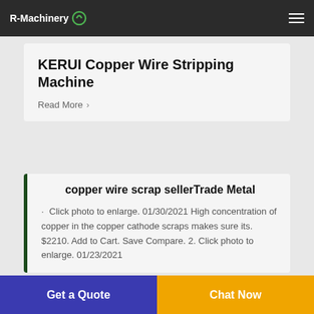R-Machinery
KERUI Copper Wire Stripping Machine
Read More >
copper wire scrap sellerTrade Metal
Click photo to enlarge. 01/30/2021 High concentration of copper in the copper cathode scraps makes sure its. $2210. Add to Cart. Save Compare. 2. Click photo to enlarge. 01/23/2021
Get a Quote
Chat Now